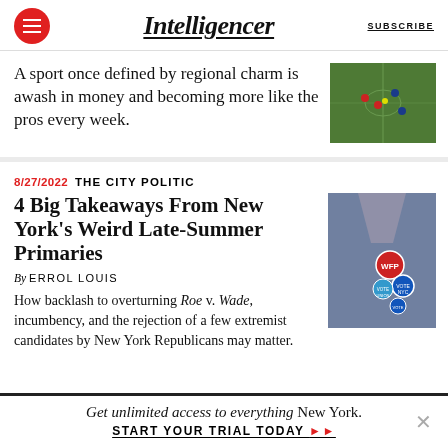Intelligencer | SUBSCRIBE
A sport once defined by regional charm is awash in money and becoming more like the pros every week.
[Figure (photo): Aerial photo of a football/soccer game on a green field]
8/27/2022  THE CITY POLITIC
4 Big Takeaways From New York's Weird Late-Summer Primaries
By ERROL LOUIS
How backlash to overturning Roe v. Wade, incumbency, and the rejection of a few extremist candidates by New York Republicans may matter.
[Figure (photo): Photo of a denim jacket with voting buttons including WFP, Vote NYC, and Vote Union badges]
Get unlimited access to everything New York.
START YOUR TRIAL TODAY ▶▶